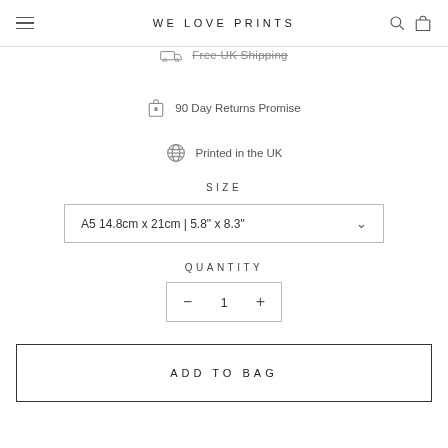WE LOVE PRINTS
Free UK Shipping
90 Day Returns Promise
Printed in the UK
SIZE
A5 14.8cm x 21cm | 5.8" x 8.3"
QUANTITY
1
ADD TO BAG